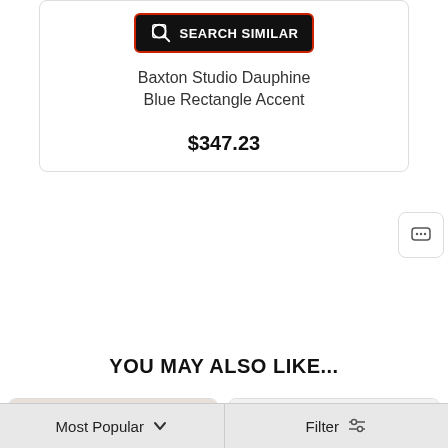[Figure (screenshot): SEARCH SIMILAR button with black background and red border, magnifying glass icon]
Baxton Studio Dauphine Blue Rectangle Accent
$347.23
YOU MAY ALSO LIKE...
[Figure (photo): Ornate dark wood dresser with mirror, carved details]
[Figure (photo): White wardrobe/closet with multiple doors and long handles]
Most Popular    Filter